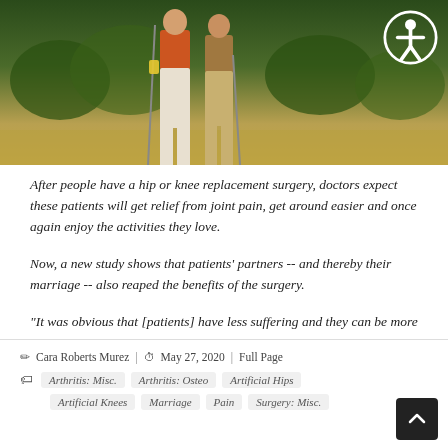[Figure (photo): Two golfers standing on a golf course, one in orange shirt and white pants, one in tan/khaki, both holding golf clubs. An accessibility icon (circle with person figure) is visible in the top right corner of the image.]
After people have a hip or knee replacement surgery, doctors expect these patients will get relief from joint pain, get around easier and once again enjoy the activities they love.
Now, a new study shows that patients' partners -- and thereby their marriage -- also reaped the benefits of the surgery.
"It was obvious that [patients] have less suffering and they can be more a...
Cara Roberts Murez | May 27, 2020 | Full Page | Arthritis: Misc. | Arthritis: Osteo | Artificial Hips | Artificial Knees | Marriage | Pain | Surgery: Misc.